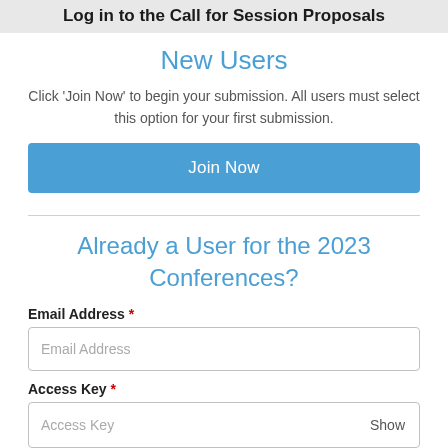Log in to the Call for Session Proposals
New Users
Click 'Join Now' to begin your submission. All users must select this option for your first submission.
[Figure (screenshot): Join Now button — blue rounded rectangle button with white text]
Already a User for the 2023 Conferences?
Email Address *
[Figure (screenshot): Email Address input field with placeholder text 'Email Address']
Access Key *
[Figure (screenshot): Access Key input field with placeholder text 'Access Key' and 'Show' button on the right]